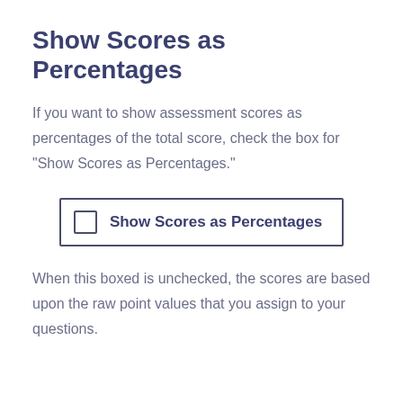Show Scores as Percentages
If you want to show assessment scores as percentages of the total score, check the box for “Show Scores as Percentages.”
[Figure (screenshot): A UI checkbox element with label 'Show Scores as Percentages' inside a bordered box.]
When this boxed is unchecked, the scores are based upon the raw point values that you assign to your questions.